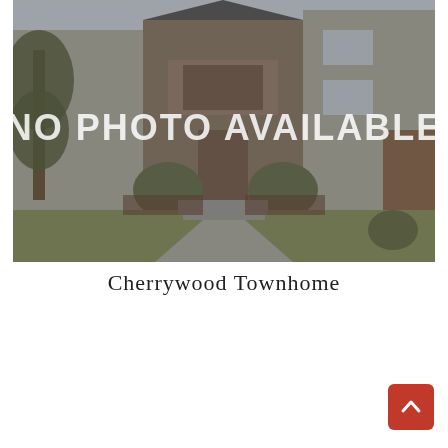[Figure (photo): Exterior photo of a townhome with 'NO PHOTO AVAILABLE' text overlay. Shows a residential building with gray/beige siding, shrubs, and a stone pathway leading to a front door with a wooden decorative panel. Trees visible on the left side. Grayscale-tinted photograph.]
Cherrywood Townhome